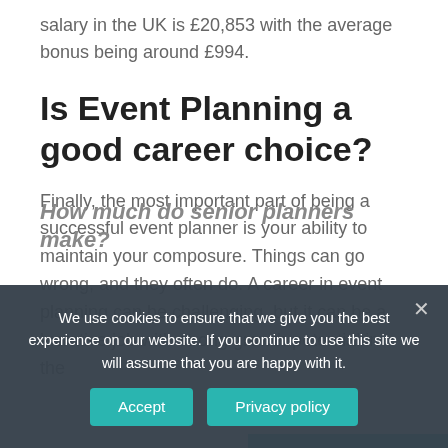salary in the UK is £20,853 with the average bonus being around £994.
Is Event Planning a good career choice?
Finally, the most important part of being a successful event planner is your ability to maintain your composure. Things can go wrong, and they often do. A career in event planning can be challenging, but it can be a lucrative job with strong growth potential in the
How much do senior planners make?
We use cookies to ensure that we give you the best experience on our website. If you continue to use this site we will assume that you are happy with it.